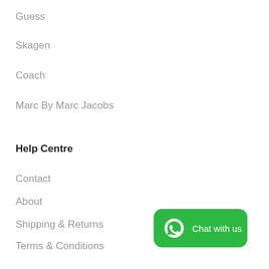Guess
Skagen
Coach
Marc By Marc Jacobs
Help Centre
Contact
About
Shipping & Returns
Terms & Conditions
Privacy Policy
Affiliate Portal